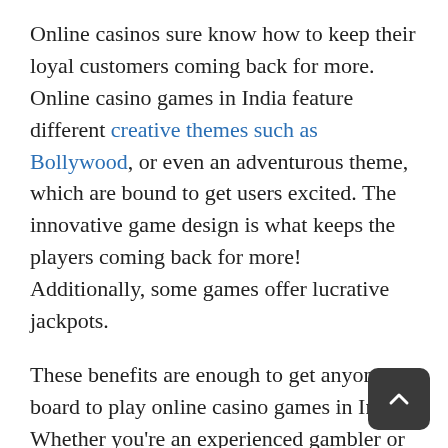Online casinos sure know how to keep their loyal customers coming back for more. Online casino games in India feature different creative themes such as Bollywood, or even an adventurous theme, which are bound to get users excited. The innovative game design is what keeps the players coming back for more! Additionally, some games offer lucrative jackpots.
These benefits are enough to get anyone on board to play online casino games in India. Whether you're an experienced gambler or a newbie who wants to try your hand at live Blackjack, Live Casino India has the best recommendations for you!
Check out our website, Live Casino India, to gain...